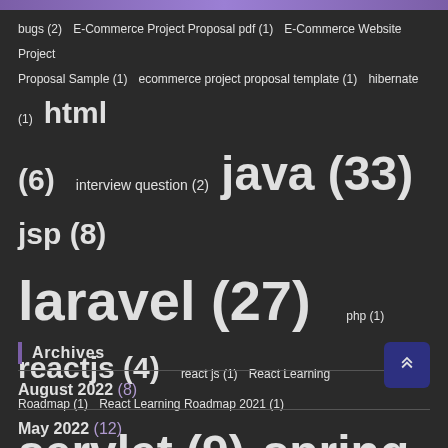bugs (2) E-Commerce Project Proposal pdf (1) E-Commerce Website Project Proposal Sample (1) ecommerce project proposal template (1) hibernate (1) html (6) interview question (2) java (33) jsp (8) laravel (27) php (1) reactjs (4) react js (1) React Learning Roadmap (1) React Learning Roadmap 2021 (1) servlet (9) spring-boot (13) web-scraper (1)
Archives
August 2022 (8)
May 2022 (12)